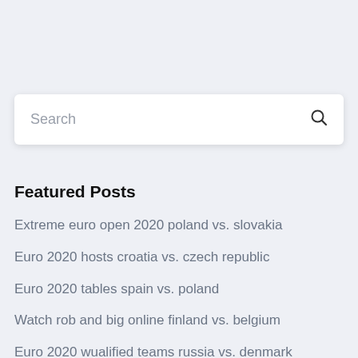Search
Featured Posts
Extreme euro open 2020 poland vs. slovakia
Euro 2020 hosts croatia vs. czech republic
Euro 2020 tables spain vs. poland
Watch rob and big online finland vs. belgium
Euro 2020 wualified teams russia vs. denmark